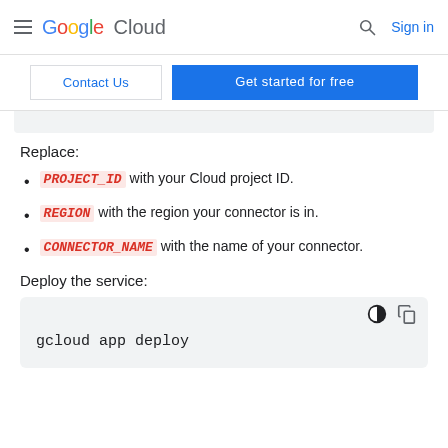Google Cloud  Sign in
Contact Us  Get started for free
Replace:
PROJECT_ID with your Cloud project ID.
REGION with the region your connector is in.
CONNECTOR_NAME with the name of your connector.
Deploy the service:
[Figure (screenshot): Code block showing: gcloud app deploy]